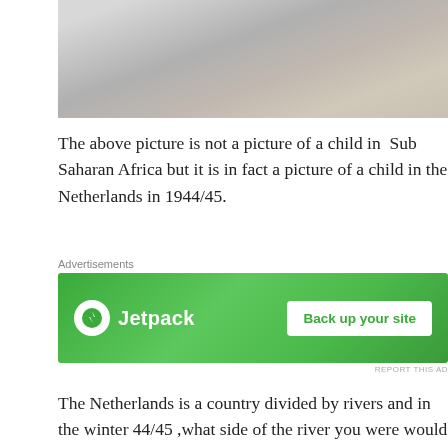[Figure (photo): Black and white photograph of a malnourished child, cropped to show upper body, partial view]
The above picture is not a picture of a child in Sub Saharan Africa but it is in fact a picture of a child in the Netherlands in 1944/45.
[Figure (other): Jetpack advertisement banner: green background with Jetpack logo on left and 'Back up your site' button on right]
The Netherlands is a country divided by rivers and in the winter 44/45 ,what side of the river you were would determine whether you would have food or not.
[Figure (map): Map of the Netherlands showing West Frisian Islands, North Sea, Leeuwarden, Groningen and surrounding regions]